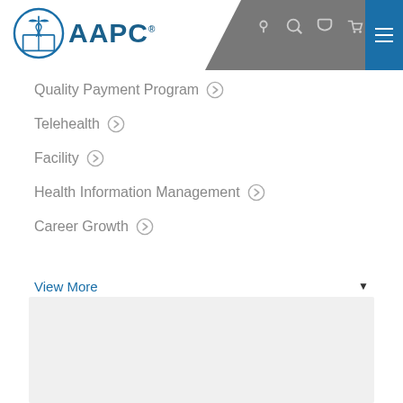[Figure (logo): AAPC logo with caduceus symbol in blue circle and AAPC text]
Quality Payment Program
Telehealth
Facility
Health Information Management
Career Growth
View More